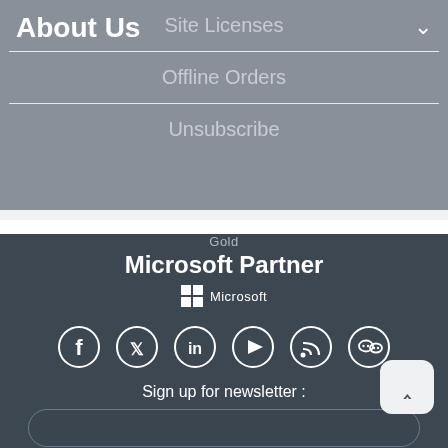About Us
Site Licenses
Offline Orders
Unsubscribe
[Figure (logo): Gold Microsoft Partner logo with Microsoft grid icon and wordmark]
[Figure (infographic): Social media icons in circles: Facebook, Twitter, LinkedIn, YouTube, RSS, WeChat]
Sign up for newsletter :
Copyright © 1999–2022 PremiumSoft™ CyberTech Ltd. All Rights Reserved.
...| Site map | Privacy Statement | GDPR...